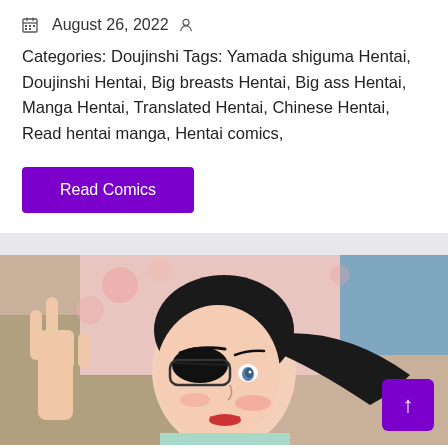August 26, 2022
Categories: Doujinshi Tags: Yamada shiguma Hentai, Doujinshi Hentai, Big breasts Hentai, Big ass Hentai, Manga Hentai, Translated Hentai, Chinese Hentai, Read hentai manga, Hentai comics,
Read Comics
[Figure (illustration): Anime/manga style illustration of a character with black hair, an eye patch, and sunglasses making a peace sign gesture. Pink floral background visible.]